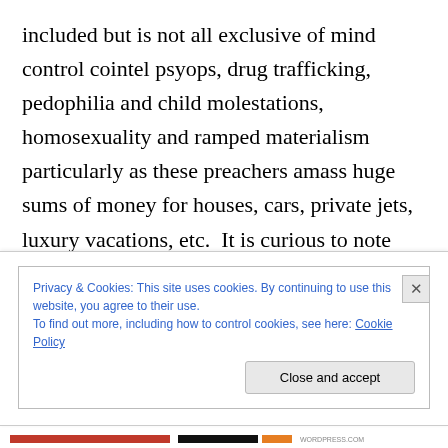included but is not all exclusive of mind control cointel psyops, drug trafficking, pedophilia and child molestations, homosexuality and ramped materialism particularly as these preachers amass huge sums of money for houses, cars, private jets, luxury vacations, etc.  It is curious to note that the average member of these congregations did not/do not have access to the same wealth and is some instances have lost prized possessions in their effort to gain access to the “Holy
Privacy & Cookies: This site uses cookies. By continuing to use this website, you agree to their use.
To find out more, including how to control cookies, see here: Cookie Policy
Close and accept